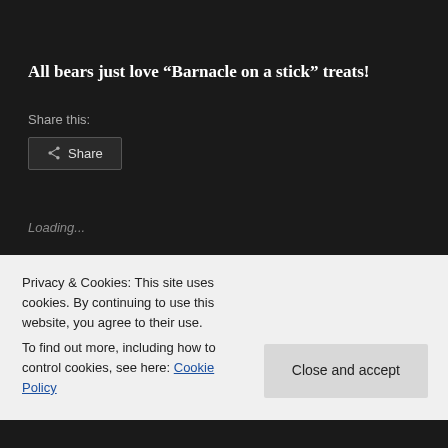All bears just love “Barnacle on a stick” treats!
Share this:
Share
Loading...
2017 April 24
Privacy & Cookies: This site uses cookies. By continuing to use this website, you agree to their use.
To find out more, including how to control cookies, see here: Cookie Policy
Close and accept